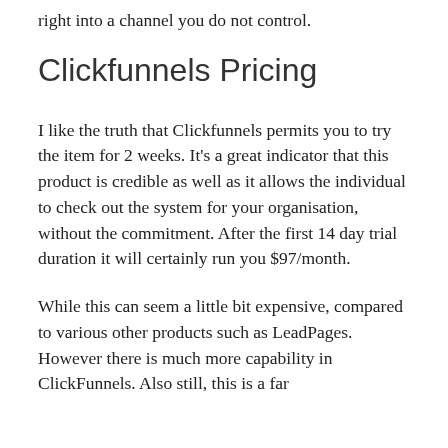right into a channel you do not control.
Clickfunnels Pricing
I like the truth that Clickfunnels permits you to try the item for 2 weeks. It’s a great indicator that this product is credible as well as it allows the individual to check out the system for your organisation, without the commitment. After the first 14 day trial duration it will certainly run you $97/month.
While this can seem a little bit expensive, compared to various other products such as LeadPages. However there is much more capability in ClickFunnels. Also still, this is a far